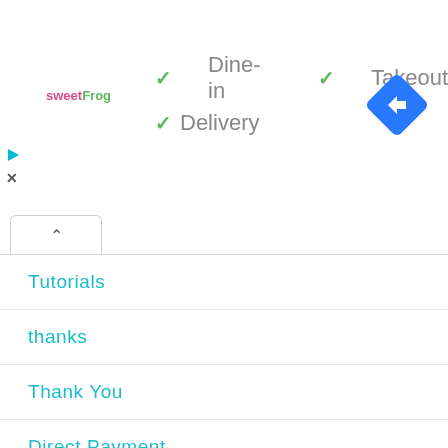[Figure (logo): sweetFrog logo in pink and green text]
✓ Dine-in  ✓ Takeout
✓ Delivery
[Figure (illustration): Blue diamond-shaped navigation/directions icon with white arrow]
Tutorials
thanks
Thank You
Direct Payment
More relate posts
Home
Popular Posts